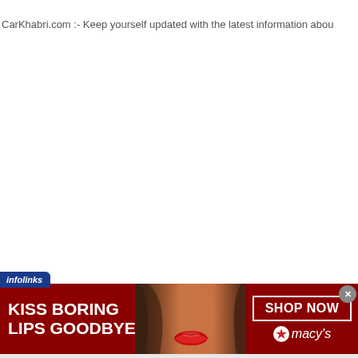CarKhabri.com :- Keep yourself updated with the latest information abou
[Figure (advertisement): Infolinks advertisement banner for Macy's with text 'KISS BORING LIPS GOODBYE' and 'SHOP NOW' button with Macy's star logo, featuring a model with red lips.]